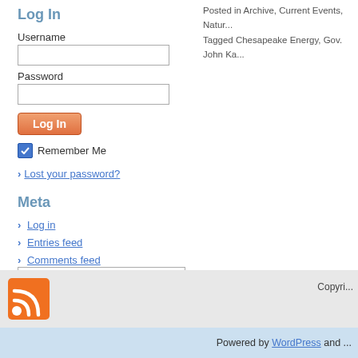Posted in Archive, Current Events, Natur... Tagged Chesapeake Energy, Gov. John Ka...
Log In
Username
Password
Remember Me
Lost your password?
Meta
Log in
Entries feed
Comments feed
WordPress.org
Copyri...
Powered by WordPress and ...